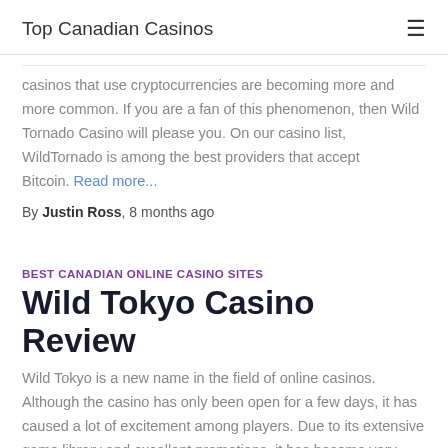Top Canadian Casinos
casinos that use cryptocurrencies are becoming more and more common. If you are a fan of this phenomenon, then Wild Tornado Casino will please you. On our casino list, WildTornado is among the best providers that accept Bitcoin. Read more...
By Justin Ross, 8 months ago
BEST CANADIAN ONLINE CASINO SITES
Wild Tokyo Casino Review
Wild Tokyo is a new name in the field of online casinos. Although the casino has only been open for a few days, it has caused a lot of excitement among players. Due to its extensive game library and excellent promotions, it has become very popular. For a better banking Read more...